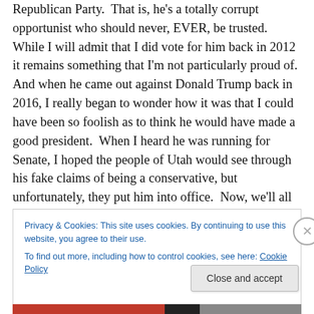Republican Party.  That is, he's a totally corrupt opportunist who should never, EVER, be trusted.  While I will admit that I did vote for him back in 2012 it remains something that I'm not particularly proud of. And when he came out against Donald Trump back in 2016, I really began to wonder how it was that I could have been so foolish as to think he would have made a good president.  When I heard he was running for Senate, I hoped the people of Utah would see through his fake claims of being a conservative, but unfortunately, they put him into office.  Now, we'll all be forced to contend with him until 2024.
Privacy & Cookies: This site uses cookies. By continuing to use this website, you agree to their use.
To find out more, including how to control cookies, see here: Cookie Policy